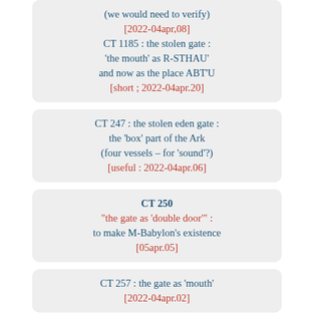(we would need to verify)
[2022-04apr,08]
CT 1185 : the stolen gate : 'the mouth' as R-STHAU' and now as the place ABT'U
[short ; 2022-04apr.20]
CT 247 : the stolen eden gate : the 'box' part of the Ark (four vessels – for 'sound'?)
[useful: 2022-04apr.06]
CT 250
"the gate as 'double door'" : to make M-Babylon's existence
[05apr.05]
CT 257 : the gate as 'mouth'
[2022-04apr.02]